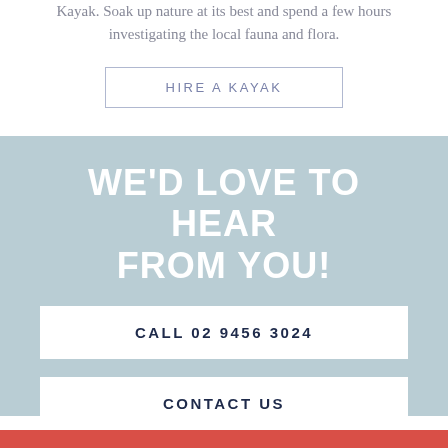Kayak. Soak up nature at its best and spend a few hours investigating the local fauna and flora.
HIRE A KAYAK
WE'D LOVE TO HEAR FROM YOU!
CALL 02 9456 3024
CONTACT US
Book a boat or kayak